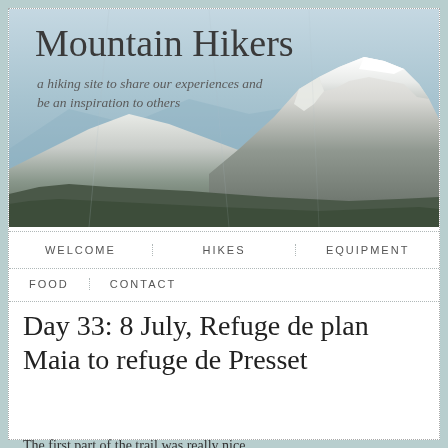[Figure (photo): Snow-capped mountain peak with blue sky and clouds, mountain hikers website header background image]
Mountain Hikers
a hiking site to share our experiences and be an inspiration to others
WELCOME  HIKES  EQUIPMENT
FOOD  CONTACT
Day 33: 8 July, Refuge de plan Maia to refuge de Presset
The first part of the trail was really nice